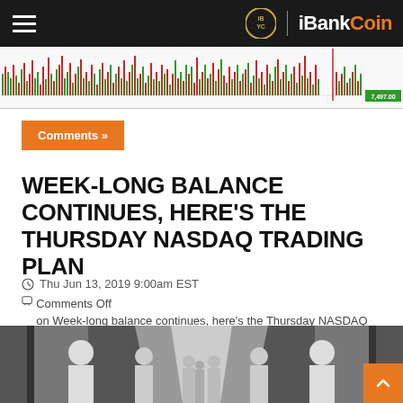iBankCoin
[Figure (screenshot): NASDAQ trading chart strip showing green and red bar chart with price data and a red vertical line]
Comments »
WEEK-LONG BALANCE CONTINUES, HERE'S THE THURSDAY NASDAQ TRADING PLAN
Thu Jun 13, 2019 9:00am EST
Comments Off
on Week-long balance continues, here's the Thursday NASDAQ trading plan
[Figure (photo): Black and white vintage photograph of several people in white lab coats standing in a long corridor]